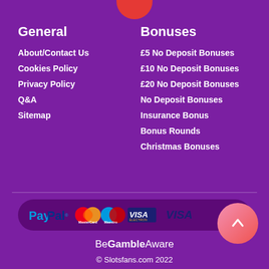General
About/Contact Us
Cookies Policy
Privacy Policy
Q&A
Sitemap
Bonuses
£5 No Deposit Bonuses
£10 No Deposit Bonuses
£20 No Deposit Bonuses
No Deposit Bonuses
Insurance Bonus
Bonus Rounds
Christmas Bonuses
[Figure (logo): Payment methods strip: PayPal, MasterCard, Maestro, Visa Electron, Visa logos on dark rounded rectangle]
BeGambleAware
© Slotsfans.com 2022